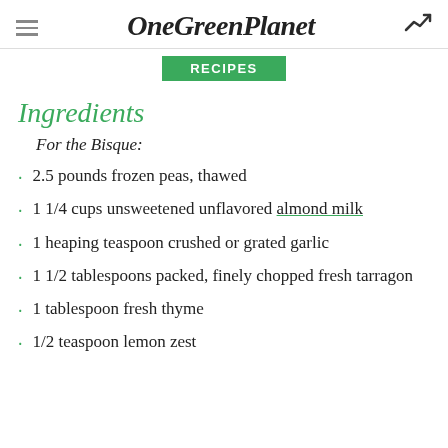OneGreenPlanet
RECIPES
Ingredients
For the Bisque:
2.5 pounds frozen peas, thawed
1 1/4 cups unsweetened unflavored almond milk
1 heaping teaspoon crushed or grated garlic
1 1/2 tablespoons packed, finely chopped fresh tarragon
1 tablespoon fresh thyme
1/2 teaspoon lemon zest